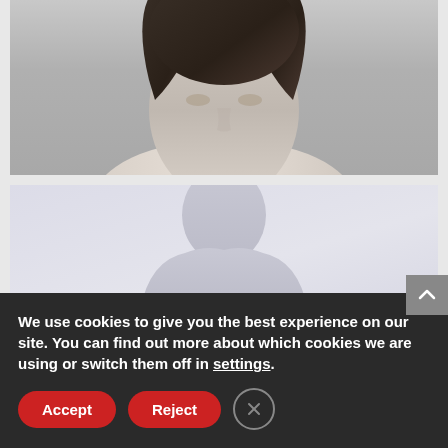[Figure (photo): Black and white photo of a woman, showing her face and upper body, cropped at the top portion of the image]
[Figure (photo): Placeholder silhouette of a person's head and shoulders on a light gray background]
We use cookies to give you the best experience on our site. You can find out more about which cookies we are using or switch them off in settings.
Accept
Reject